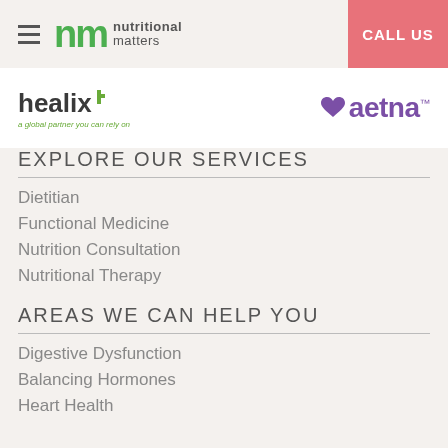NM Nutritional Matters — CALL US
[Figure (logo): Healix logo with tagline 'a global partner you can rely on']
[Figure (logo): Aetna logo with purple heart and text 'aetna']
EXPLORE OUR SERVICES
Dietitian
Functional Medicine
Nutrition Consultation
Nutritional Therapy
AREAS WE CAN HELP YOU
Digestive Dysfunction
Balancing Hormones
Heart Health